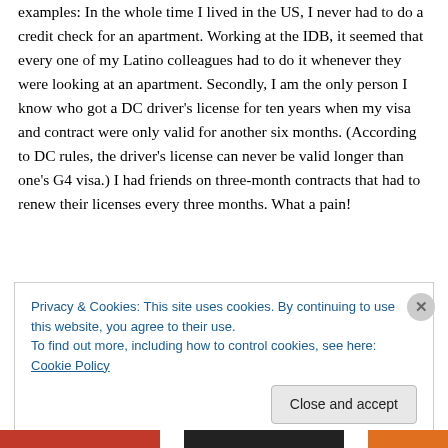examples: In the whole time I lived in the US, I never had to do a credit check for an apartment. Working at the IDB, it seemed that every one of my Latino colleagues had to do it whenever they were looking at an apartment. Secondly, I am the only person I know who got a DC driver's license for ten years when my visa and contract were only valid for another six months. (According to DC rules, the driver's license can never be valid longer than one's G4 visa.) I had friends on three-month contracts that had to renew their licenses every three months. What a pain!
Privacy & Cookies: This site uses cookies. By continuing to use this website, you agree to their use.
To find out more, including how to control cookies, see here: Cookie Policy